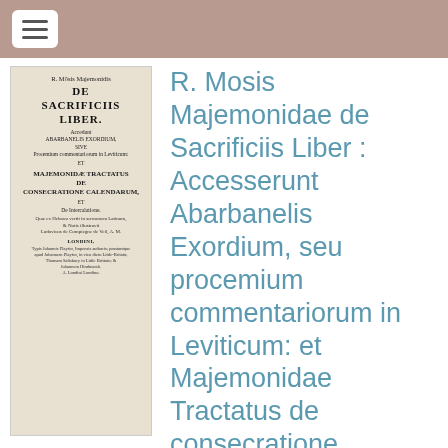[Figure (photo): Photograph/scan of an old book title page for 'R. Mosis Majemonidae de Sacrificiis Liber' with Latin text, showing imprint details and publisher information.]
R. Mosis Majemonidae de Sacrificiis Liber : Accesserunt Abarbanelis Exordium, seu procemium commentariorum in Leviticum: et Majemonidae Tractatus de consecratione calendarum, et de ratione intercalandi. Quae ex hebraeo convertit in sermonem latinum, & notis illustravit Ludovicus de Compiegne de Veil, A.M.